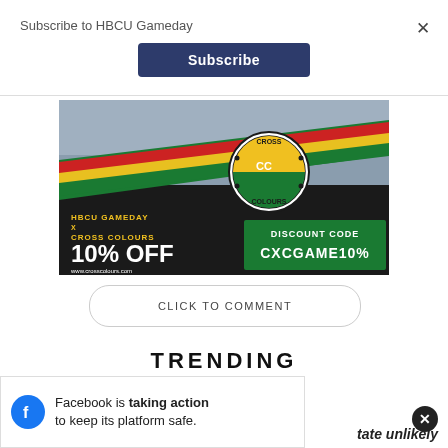Subscribe to HBCU Gameday
Subscribe
[Figure (illustration): Cross Colours advertisement banner: HBCU Gameday x Cross Colours, 10% OFF, www.crosscolours.com, Discount Code CXCGAME10%]
CLICK TO COMMENT
TRENDING
Facebook is taking action to keep its platform safe.
tate unlikely